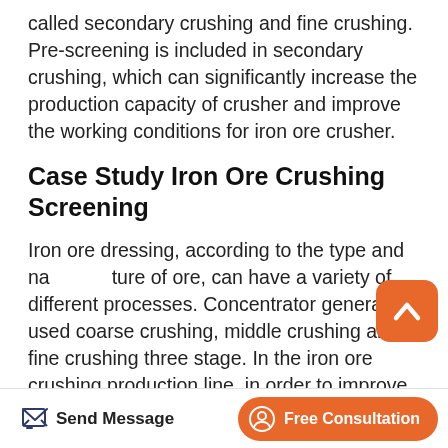called secondary crushing and fine crushing. Pre-screening is included in secondary crushing, which can significantly increase the production capacity of crusher and improve the working conditions for iron ore crusher.
Case Study Iron Ore Crushing Screening
Iron ore dressing, according to the type and nature of ore, can have a variety of different processes. Concentrator generally used coarse crushing, middle crushing and fine crushing three stage. In the iron ore crushing production line, in order to improve the production efficiency of iron ore crusher, reduce production costs.
[Figure (other): Back-to-top button: orange rounded square with white upward chevron/arrow icon]
Send Message | Free Consultation